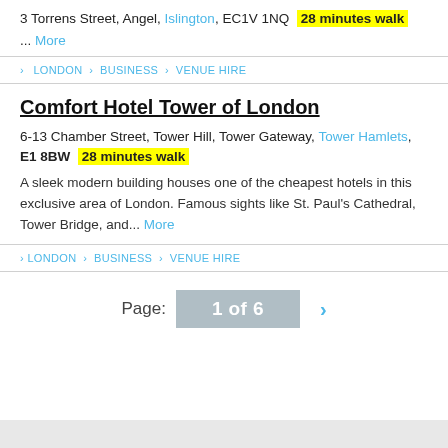3 Torrens Street, Angel, Islington, EC1V 1NQ  28 minutes walk
... More
› LONDON › BUSINESS › VENUE HIRE
Comfort Hotel Tower of London
6-13 Chamber Street, Tower Hill, Tower Gateway, Tower Hamlets, E1 8BW  28 minutes walk
A sleek modern building houses one of the cheapest hotels in this exclusive area of London. Famous sights like St. Paul's Cathedral, Tower Bridge, and... More
› LONDON › BUSINESS › VENUE HIRE
Page: 1 of 6 ›